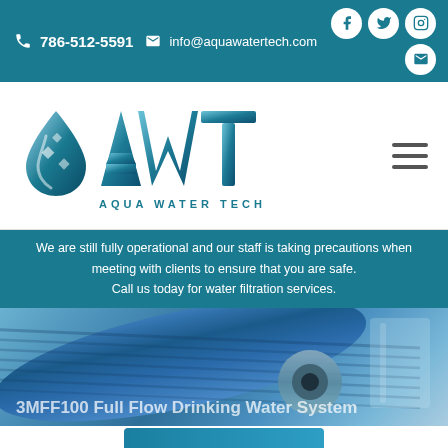786-512-5591 info@aquawatertech.com
[Figure (logo): Aqua Water Tech (AWT) logo with water drop icon and stylized AWT letters]
We are still fully operational and our staff is taking precautions when meeting with clients to ensure that you are safe. Call us today for water filtration services.
[Figure (photo): Blue water filter cartridge (3MFF100 Full Flow Drinking Water System) with a glass of water in background]
3MFF100 Full Flow Drinking Water System